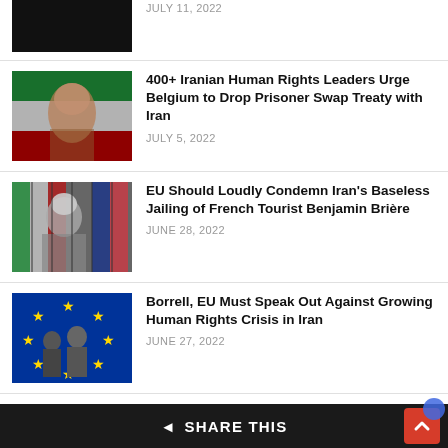[Figure (photo): Partially visible news thumbnail, dark/black image at top]
JULY 11, 2022
[Figure (photo): Portrait with Iranian flag overlay]
400+ Iranian Human Rights Leaders Urge Belgium to Drop Prisoner Swap Treaty with Iran
JULY 5, 2022
[Figure (photo): Man behind bars with French and Iranian flags]
EU Should Loudly Condemn Iran's Baseless Jailing of French Tourist Benjamin Brière
JUNE 28, 2022
[Figure (photo): Two men in front of EU flag with stars]
Borrell, EU Must Speak Out Against Growing Human Rights Crisis in Iran
JUNE 27, 2022
[Figure (photo): Man with beard, outdoor urban setting]
Mother of Detained Labor Rights Activist Calls for Daughter's Freedom: "I Ask You All to B..."
SHARE THIS